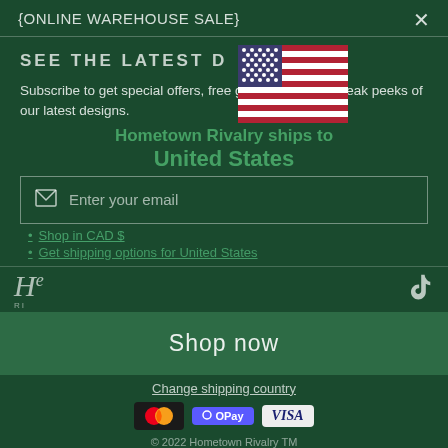{ONLINE WAREHOUSE SALE}
SEE THE LATEST DEALS
[Figure (illustration): US flag emoji overlaid on the modal]
Subscribe to get special offers, free giveaways, and sneak peeks of our latest designs.
Hometown Rivalry ships to United States
Enter your email
Shop in CAD $
Get shipping options for United States
Shop now
Change shipping country
© 2022 Hometown Rivalry TM